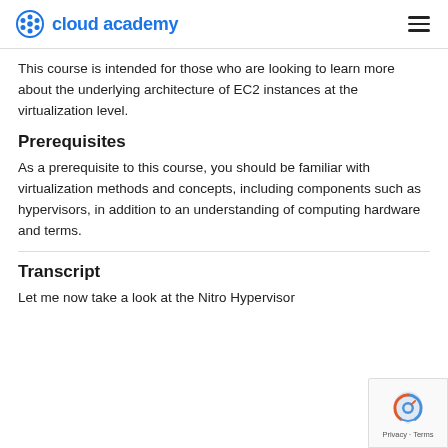cloud academy
This course is intended for those who are looking to learn more about the underlying architecture of EC2 instances at the virtualization level.
Prerequisites
As a prerequisite to this course, you should be familiar with virtualization methods and concepts, including components such as hypervisors, in addition to an understanding of computing hardware and terms.
Transcript
Let me now take a look at the Nitro Hypervisor